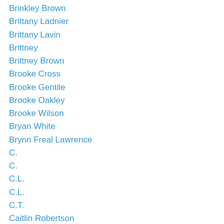Brinkley Brown
Brittany Ladnier
Brittany Lavin
Brittney
Brittney Brown
Brooke Cross
Brooke Gentile
Brooke Oakley
Brooke Wilson
Bryan White
Brynn Freal Lawrence
C.
C.
C.L.
C.L.
C.T.
Caitlin Robertson
Cameron
Candace J. Jackson
Candice Glass